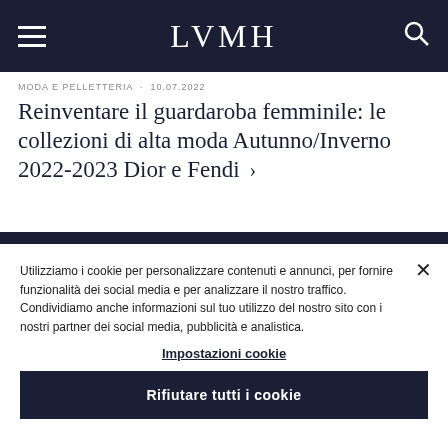LVMH
MODA E PELLETTERIA · 10.07.2022
Reinventare il guardaroba femminile: le collezioni di alta moda Autunno/Inverno 2022-2023 Dior e Fendi ›
Utilizziamo i cookie per personalizzare contenuti e annunci, per fornire funzionalità dei social media e per analizzare il nostro traffico. Condividiamo anche informazioni sul tuo utilizzo del nostro sito con i nostri partner dei social media, pubblicità e analistica.
Impostazioni cookie
Rifiutare tutti i cookie